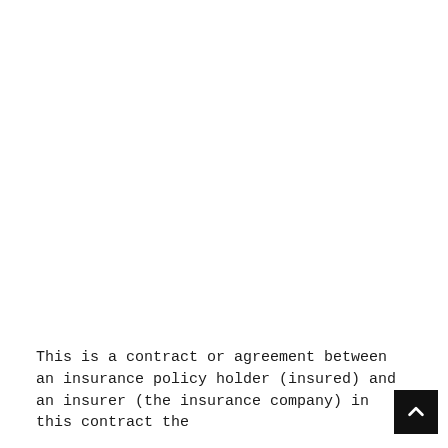This is a contract or agreement between an insurance policy holder (insured) and an insurer (the insurance company) in this contract the